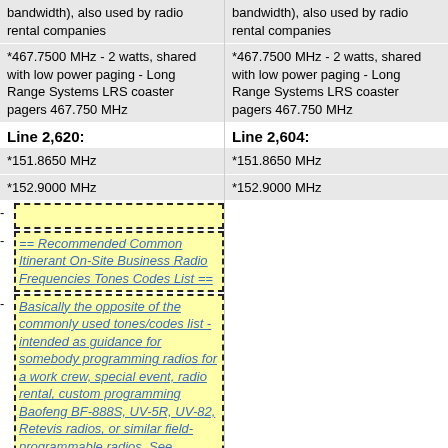bandwidth), also used by radio rental companies
bandwidth), also used by radio rental companies
*467.7500 MHz - 2 watts, shared with low power paging - Long Range Systems LRS coaster pagers 467.750 MHz
*467.7500 MHz - 2 watts, shared with low power paging - Long Range Systems LRS coaster pagers 467.750 MHz
Line 2,620:
Line 2,604:
*151.8650 MHz
*151.8650 MHz
*152.9000 MHz
*152.9000 MHz
- (deleted line)
- == Recommended Common Itinerant On-Site Business Radio Frequencies Tones Codes List ==
- Basically the opposite of the commonly used tones/codes list - intended as guidance for somebody programming radios for a work crew, special event, radio rental, custom programming Baofeng BF-888S, UV-5R, UV-82, Retevis radios, or similar field-programmable radios. See [[FRS#Recommended_FRS_Channel_Frequency_Code_.28Tone.29_Subchannel_DCS_CTCSS_Combi